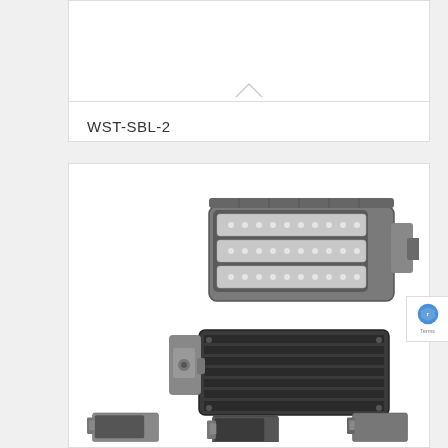[Figure (illustration): Collapsed/minimized product card with a downward caret arrow indicating expandable content, white background with light border]
WST-SBL-2
[Figure (photo): Three LED street/area light fixtures shown from different angles: top view showing LED panel face with three rows of LEDs and mounting arm, bottom view showing heat sink fins and mounting hardware, and two smaller fixtures shown at bottom partially cropped. Fixtures are gray and dark/black colored.]